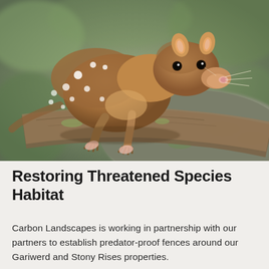[Figure (photo): Close-up photograph of a spotted quoll (native Australian marsupial) perched on a mossy rock or log, with brown fur and white spots, looking toward the camera. Background is blurred green and grey tones.]
Restoring Threatened Species Habitat
Carbon Landscapes is working in partnership with our partners to establish predator-proof fences around our Gariwerd and Stony Rises properties.